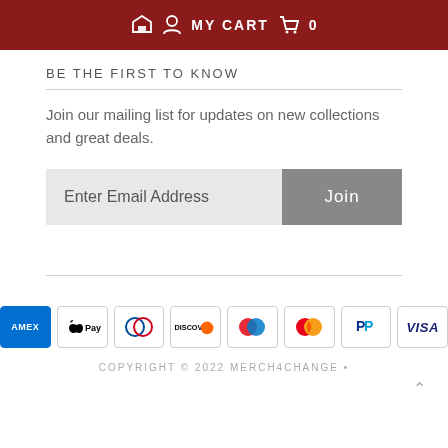MY CART 0
BE THE FIRST TO KNOW
Join our mailing list for updates on new collections and great deals.
Enter Email Address  Join
[Figure (other): Payment method icons: American Express, Apple Pay, Diners Club, Discover, Maestro, Mastercard, PayPal, Visa]
COPYRIGHT © 2022 MERCH4CHANGE •